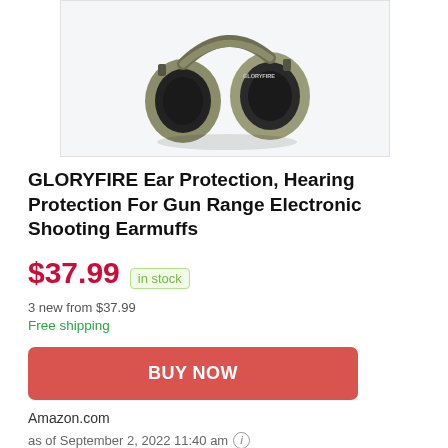[Figure (photo): Product photo of GLORYFIRE electronic shooting earmuffs/ear protection headset in tan/olive color with black ear cups, shown from above/side angle against light gray background]
GLORYFIRE Ear Protection, Hearing Protection For Gun Range Electronic Shooting Earmuffs
$37.99 in stock
3 new from $37.99
Free shipping
BUY NOW
Amazon.com
as of September 2, 2022 11:40 am